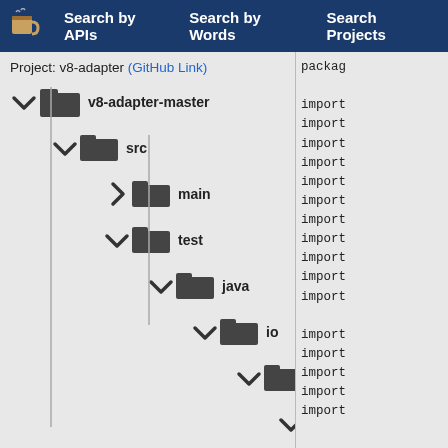Search by APIs  Search by Words  Search Projects
Project: v8-adapter (GitHub Link)
[Figure (screenshot): File tree showing v8-adapter-master project with folders: src, main, test, java, io, alicorn, v8]
package
import
import
import
import
import
import
import
import
import
import
import
import
import
import
import
import
import
import
import